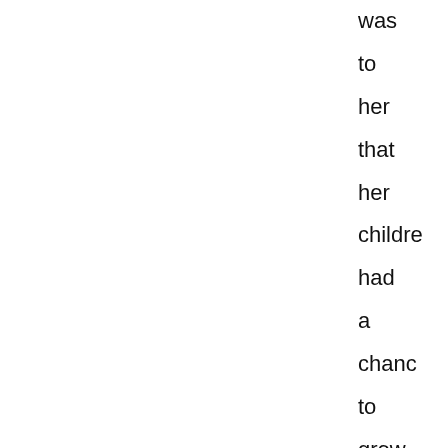was to her that her children had a chance to grow up in a world without racism. Now, as an adult, as